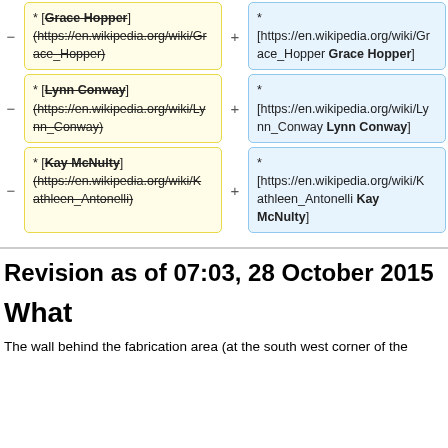* [Grace Hopper] (https://en.wikipedia.org/wiki/Grace_Hopper)  −  * (https://en.wikipedia.org/wiki/Grace_Hopper) →  * [https://en.wikipedia.org/wiki/Grace_Hopper Grace Hopper]
* [Lynn Conway] (https://en.wikipedia.org/wiki/Lynn_Conway)  −  * (https://en.wikipedia.org/wiki/Lynn_Conway) →  * [https://en.wikipedia.org/wiki/Lynn_Conway Lynn Conway]
* [Kay McNulty] (https://en.wikipedia.org/wiki/Kathleen_Antonelli)  −  * (https://en.wikipedia.org/wiki/Kathleen_Antonelli) →  * [https://en.wikipedia.org/wiki/Kathleen_Antonelli Kay McNulty]
Revision as of 07:03, 28 October 2015
What
The wall behind the fabrication area (at the south west corner of the